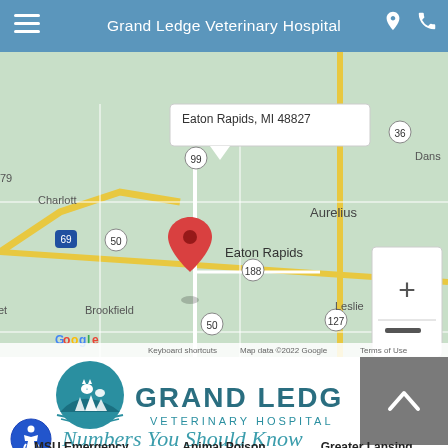Grand Ledge Veterinary Hospital
[Figure (map): Google Maps screenshot showing Eaton Rapids, MI area with a red location pin on Eaton Rapids. Nearby labels: Charlott, Aurelius, Brookfield, Leslie, Dans. Road labels: 50, 99, 188, 127, 36, 69. Address shown: Eaton Rapids, MI 48827. Map data ©2022 Google.]
[Figure (logo): Grand Ledge Veterinary Hospital logo: circular teal emblem with silhouettes of a cat and dog on a hill with pine trees. Text below reads GRAND LEDGE VETERINARY HOSPITAL in teal.]
Numbers You Should Know
MSU Emergency
Animal Poison
Greater Lansing